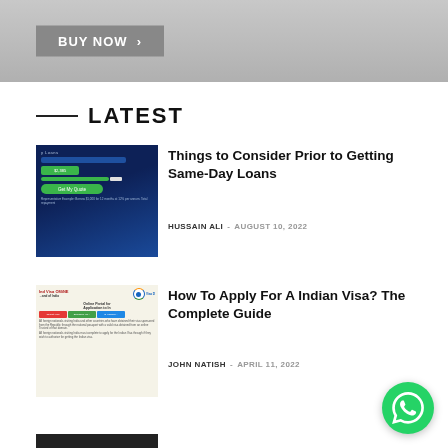[Figure (photo): Banner image with BUY NOW button on grey background]
LATEST
[Figure (screenshot): Screenshot of a same-day loans website with blue background and green Get My Quote button]
Things to Consider Prior to Getting Same-Day Loans
HUSSAIN ALI - AUGUST 10, 2022
[Figure (screenshot): Screenshot of Indian Visa Online application page with Indian flag and colored section bars]
How To Apply For A Indian Visa? The Complete Guide
JOHN NATISH - APRIL 11, 2022